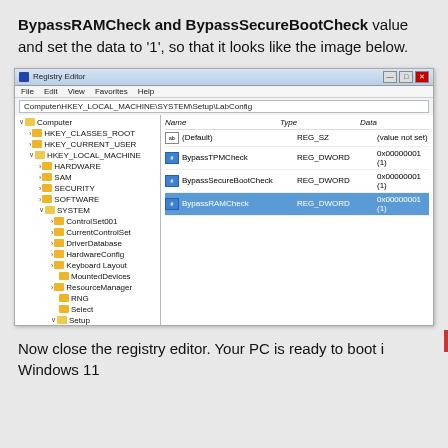BypassRAMCheck and BypassSecureBootCheck value and set the data to '1', so that it looks like the image below.
[Figure (screenshot): Windows Registry Editor screenshot showing HKEY_LOCAL_MACHINE\SYSTEM\Setup\LabConfig with entries: (Default) REG_SZ (value not set), BypassTPMCheck REG_DWORD 0x00000001 (1), BypassSecureBootCheck REG_DWORD 0x00000001 (1), BypassRAMCheck REG_DWORD 0x00000001 (1). The BypassRAMCheck entry is highlighted/selected in blue.]
Now close the registry editor. Your PC is ready to boot i Windows 11